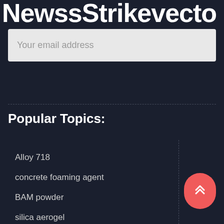NewssStrikevecto...
Your email address
Popular Topics:
Alloy 718
concrete foaming agent
BAM powder
silica aerogel